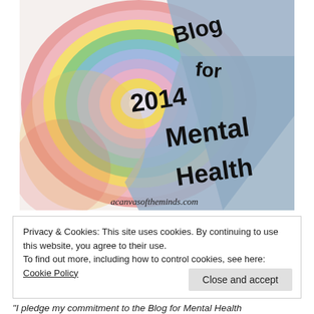[Figure (illustration): Colorful hand-drawn spiral illustration with rainbow concentric swirling bands (blue, green, yellow, pink, red). A wedge shape cuts through the spiral containing bold handwritten text reading 'Blog for 2014 Mental Health'. Below the image the URL 'acanvasoftheminds.com' is printed.]
Privacy & Cookies: This site uses cookies. By continuing to use this website, you agree to their use.
To find out more, including how to control cookies, see here: Cookie Policy
Close and accept
“I pledge my commitment to the Blog for Mental Health